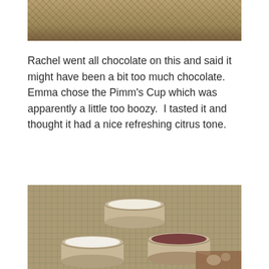[Figure (photo): Top portion of a photo showing a woven/rattan textured surface, cropped at top of page]
Rachel went all chocolate on this and said it might have been a bit too much chocolate.  Emma chose the Pimm's Cup which was apparently a little too boozy.  I tasted it and thought it had a nice refreshing citrus tone.
[Figure (photo): Three small cups/bowls of ice cream or frozen dessert on a wooden table with a plaid/grid pattern mat. One cup has a white/cream colored dessert (top center), one has white dessert (bottom left), and one has dark chocolate colored dessert (bottom right). A floral fabric is visible in the bottom right corner.]